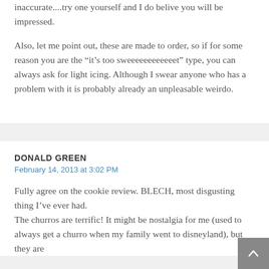inaccurate....try one yourself and I do belive you will be impressed.
Also, let me point out, these are made to order, so if for some reason you are the “it’s too sweeeeeeeeeeeet” type, you can always ask for light icing. Although I swear anyone who has a problem with it is probably already an unpleasable weirdo.
DONALD GREEN
February 14, 2013 at 3:02 PM
Fully agree on the cookie review. BLECH, most disgusting thing I’ve ever had. The churros are terrific! It might be nostalgia for me (used to always get a churro when my family went to disneyland), but they are